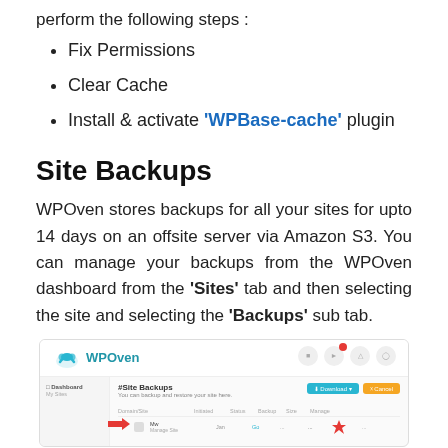perform the following steps :
Fix Permissions
Clear Cache
Install & activate 'WPBase-cache' plugin
Site Backups
WPOven stores backups for all your sites for upto 14 days on an offsite server via Amazon S3. You can manage your backups from the WPOven dashboard from the 'Sites' tab and then selecting the site and selecting the 'Backups' sub tab.
[Figure (screenshot): Screenshot of WPOven dashboard showing the Site Backups interface with Download and Cancel buttons, a table listing site backups with columns for Domain/Site, Initiated, Status, Backup, Size, and Manage. A red arrow points to a site row.]